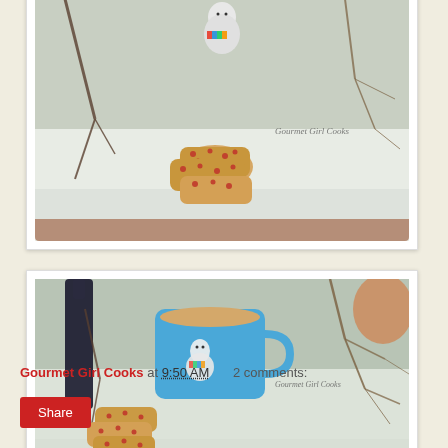[Figure (photo): Cookies/scones with red pieces arranged in snow outdoors, with a snowman figurine and bare branches, watermark reads Gourmet Girl Cooks]
[Figure (photo): Blue snowman mug with coffee/latte and cookies/scones in snow outdoors with bare branches, watermark reads Gourmet Girl Cooks]
Gourmet Girl Cooks at 9:50 AM    2 comments:
Share